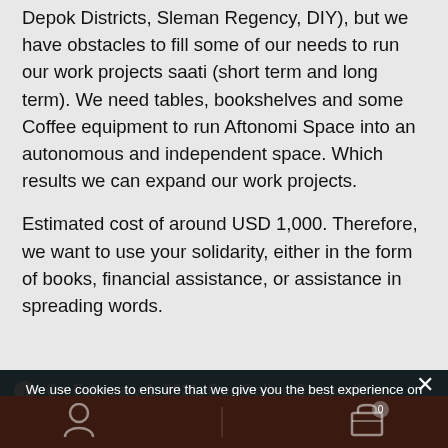Depok Districts, Sleman Regency, DIY), but we have obstacles to fill some of our needs to run our work projects saati (short term and long term). We need tables, bookshelves and some Coffee equipment to run Aftonomi Space into an autonomous and independent space. Which results we can expand our work projects.
Estimated cost of around USD 1,000. Therefore, we want to use your solidarity, either in the form of books, financial assistance, or assistance in spreading words.
On February 1, 2021, Our Online-Shop will be closed. All
We use cookies to ensure that we give you the best experience on our website. If you continue to use this site we will assume that you are happy with it.